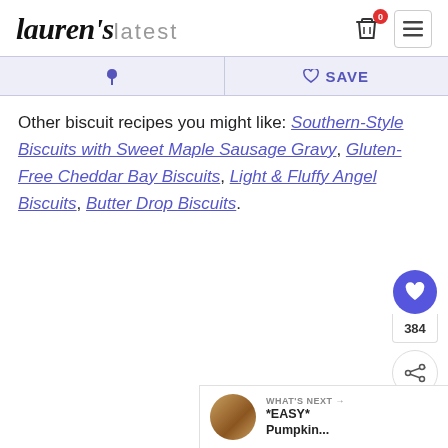lauren's latest — header with cart and menu icons
♻ | ♡ SAVE — Pinterest and Save action bar
Other biscuit recipes you might like: Southern-Style Biscuits with Sweet Maple Sausage Gravy, Gluten-Free Cheddar Bay Biscuits, Light & Fluffy Angel Biscuits, Butter Drop Biscuits.